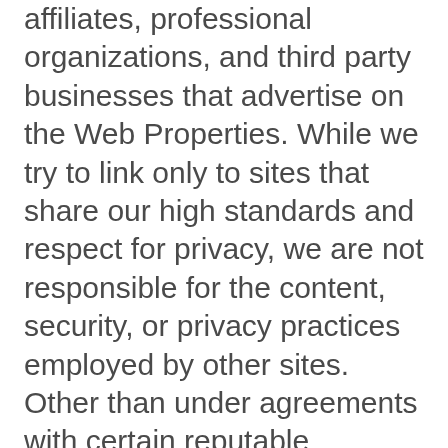affiliates, professional organizations, and third party businesses that advertise on the Web Properties. While we try to link only to sites that share our high standards and respect for privacy, we are not responsible for the content, security, or privacy practices employed by other sites. Other than under agreements with certain reputable organizations and companies (such as certain third party advertisers on the Web Properties), and except for third party service providers (as described in this Privacy Policy), we do not share any of the Personal Information that you provide to us with any of the websites to which the Web Properties links, although we may share aggregate, non-personally identifiable information with those other third parties. Please check with